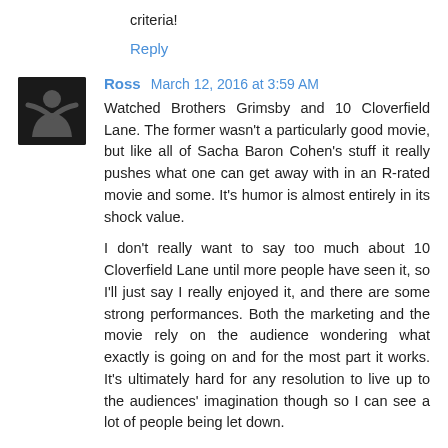criteria!
Reply
Ross  March 12, 2016 at 3:59 AM
Watched Brothers Grimsby and 10 Cloverfield Lane. The former wasn't a particularly good movie, but like all of Sacha Baron Cohen's stuff it really pushes what one can get away with in an R-rated movie and some. It's humor is almost entirely in its shock value.

I don't really want to say too much about 10 Cloverfield Lane until more people have seen it, so I'll just say I really enjoyed it, and there are some strong performances. Both the marketing and the movie rely on the audience wondering what exactly is going on and for the most part it works. It's ultimately hard for any resolution to live up to the audiences' imagination though so I can see a lot of people being let down.

Aside from that, it's been The Pirates on Netflix which was